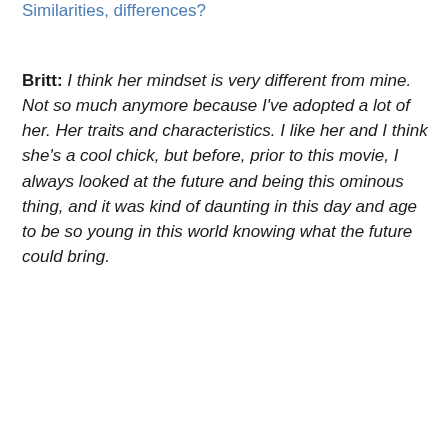Similarities, differences?
Britt: I think her mindset is very different from mine.  Not so much anymore because I've adopted a lot of her. Her traits and characteristics. I like her and I think she's a cool chick, but before, prior to this movie, I always looked at the future and being this ominous thing, and it was kind of daunting in this day and age to be so young in this world knowing what the future could bring.